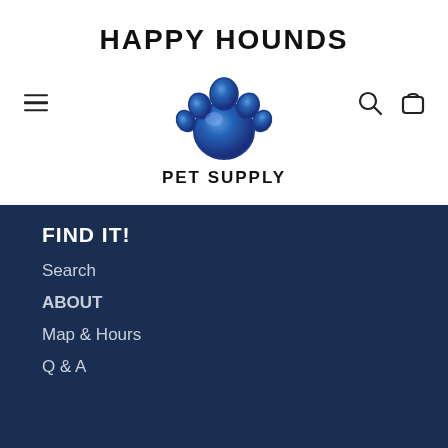[Figure (logo): Happy Hounds Pet Supply logo: text 'HAPPY HOUNDS' arched above a blue paw print, with 'PET SUPPLY' below in bold black text]
FIND IT!
Search
ABOUT
Map & Hours
Q & A